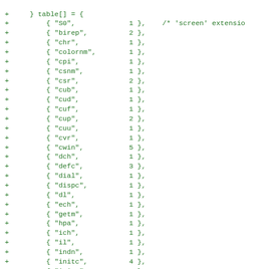[Figure (screenshot): Code diff snippet showing a C-style table array initialization with string keys and integer values, displayed in green monospace font on white background. Lines are prefixed with '+' indicating additions in a diff.]